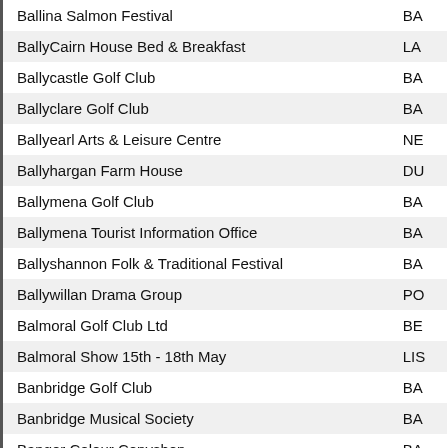| Name | Code |
| --- | --- |
| Ballina Salmon Festival | BA |
| BallyCairn House Bed & Breakfast | LA |
| Ballycastle Golf Club | BA |
| Ballyclare Golf Club | BA |
| Ballyearl Arts & Leisure Centre | NE |
| Ballyhargan Farm House | DU |
| Ballymena Golf Club | BA |
| Ballymena Tourist Information Office | BA |
| Ballyshannon Folk & Traditional Festival | BA |
| Ballywillan Drama Group | PO |
| Balmoral Golf Club Ltd | BE |
| Balmoral Show 15th - 18th May | LIS |
| Banbridge Golf Club | BA |
| Banbridge Musical Society | BA |
| Bangor Colour Copyshop | BA |
| Bangor Golf Club | BA |
| Bannatyne Health Club Belfast | BE |
| Bardic Theatre | DO |